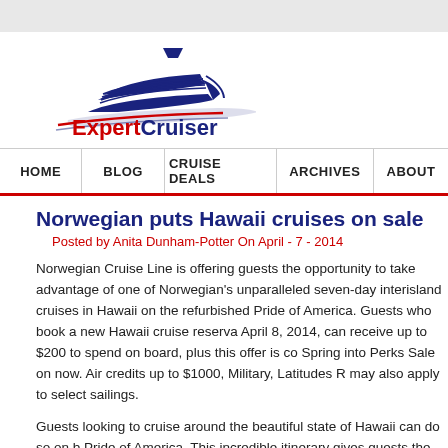[Figure (logo): ExpertCruiser logo with cruise ship graphic in blue and red text]
HOME  BLOG  CRUISE DEALS  ARCHIVES  ABOUT
Norwegian puts Hawaii cruises on sale
Posted by Anita Dunham-Potter On April - 7 - 2014
Norwegian Cruise Line is offering guests the opportunity to take advantage of one of Norwegian's unparalleled seven-day interisland cruises in Hawaii on the refurbished Pride of America. Guests who book a new Hawaii cruise reservation April 8, 2014, can receive up to $200 to spend on board, plus this offer is co- Spring into Perks Sale on now. Air credits up to $1000, Military, Latitudes Re- may also apply to select sailings.
Guests looking to cruise around the beautiful state of Hawaii can do so on b- Pride of America. This incredible itinerary gives guests the opportunity to ex-